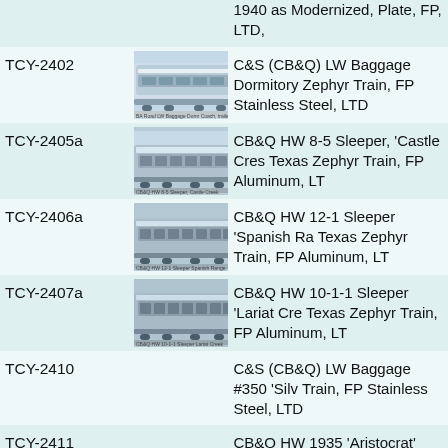| Code | Image | Description |
| --- | --- | --- |
|  |  | 1940 as Modernized, Plate, FP, LTD, |
| TCY-2402 | [image] | C&S (CB&Q) LW Baggage Dormitory Zephyr Train, FP Stainless Steel, LTD |
| TCY-2405a | [image] | CB&Q HW 8-5 Sleeper, 'Castle Cres Texas Zephyr Train, FP Aluminum, LT |
| TCY-2406a | [image] | CB&Q HW 12-1 Sleeper 'Spanish Ra Texas Zephyr Train, FP Aluminum, LT |
| TCY-2407a | [image] | CB&Q HW 10-1-1 Sleeper 'Lariat Cre Texas Zephyr Train, FP Aluminum, LT |
| TCY-2410 |  | C&S (CB&Q) LW Baggage #350 'Silv Train, FP Stainless Steel, LTD |
| TCY-2411 |  | CB&Q HW 1935 'Aristocrat' train, 8 c 15 #3525, Chair car PC-9 #4521, De 10-1-1 Sleeper 'Grand Lake', 14 Sec Solarium 'Burlington Light', FP Pullma |
| TCY-2411.1 |  | CB&Q HW 1935 'Aristocrat' train, 2 c 12-1 Sleeper 'Estes Park', FP Pullma |
| TCY-2412 |  | CB&Q HW 1935 'Blackhawk' train: 8 |